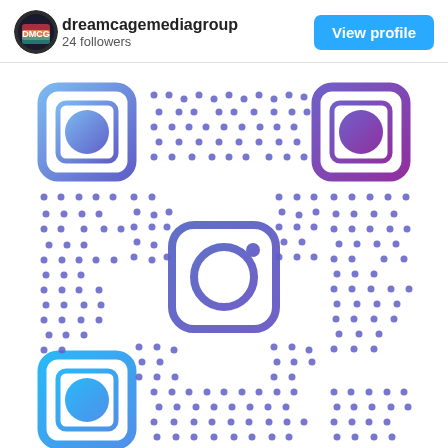[Figure (logo): Instagram profile avatar - circular logo with colorful design for dreamcagemediagroup]
dreamcagemediagroup
24 followers
View profile
[Figure (other): Instagram QR code for dreamcagemediagroup profile. Features three corner finder squares (top-left in blue/purple gradient, top-right in purple gradient, bottom-left in cyan/blue gradient), a central Instagram camera logo icon in blue/purple, and a dot-pattern QR code data area in purple/blue colors on white background.]